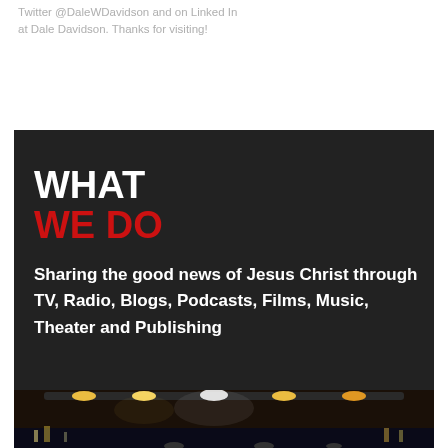Twitter @DaleDavidson and on Linked In at Dale Davidson. Thanks for visiting!
WHAT WE DO
Sharing the good news of Jesus Christ through TV, Radio, Blogs, Podcasts, Films, Music, Theater and Publishing
[Figure (photo): Stage with studio lights and city background at night]